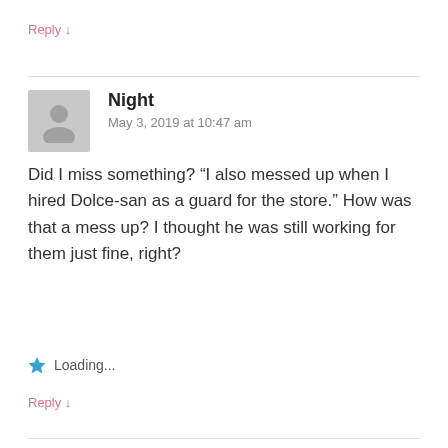Reply ↓
[Figure (illustration): Grey avatar placeholder icon with silhouette of a person]
Night
May 3, 2019 at 10:47 am
Did I miss something? “I also messed up when I hired Dolce-san as a guard for the store.” How was that a mess up? I thought he was still working for them just fine, right?
Loading...
Reply ↓